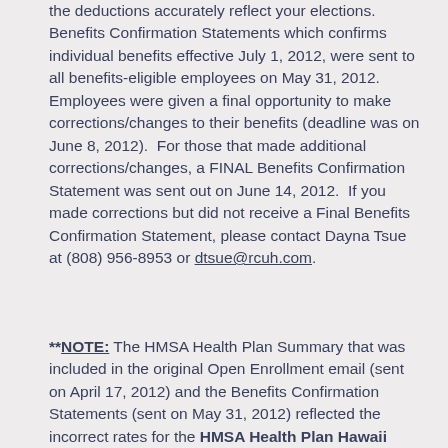the deductions accurately reflect your elections. Benefits Confirmation Statements which confirms individual benefits effective July 1, 2012, were sent to all benefits-eligible employees on May 31, 2012.  Employees were given a final opportunity to make corrections/changes to their benefits (deadline was on June 8, 2012).  For those that made additional corrections/changes, a FINAL Benefits Confirmation Statement was sent out on June 14, 2012.  If you made corrections but did not receive a Final Benefits Confirmation Statement, please contact Dayna Tsue at (808) 956-8953 or dtsue@rcuh.com.
**NOTE: The HMSA Health Plan Summary that was included in the original Open Enrollment email (sent on April 17, 2012) and the Benefits Confirmation Statements (sent on May 31, 2012) reflected the incorrect rates for the HMSA Health Plan Hawaii